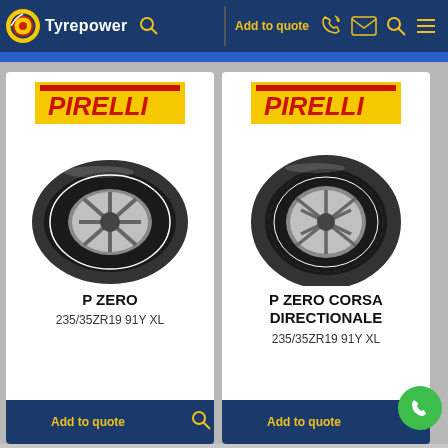Tyrepower | Add to quote
[Figure (photo): Pirelli P ZERO tire on silver alloy wheel, viewed from slight angle]
P ZERO
235/35ZR19 91Y XL
[Figure (photo): Pirelli P ZERO CORSA DIRECTIONALE tire on silver alloy wheel with directional tread pattern, viewed from slight angle]
P ZERO CORSA DIRECTIONALE
235/35ZR19 91Y XL
Add to quote | Add to quote